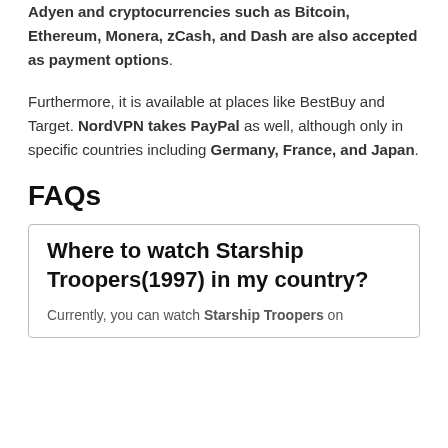Adyen and cryptocurrencies such as Bitcoin, Ethereum, Monera, zCash, and Dash are also accepted as payment options.
Furthermore, it is available at places like BestBuy and Target. NordVPN takes PayPal as well, although only in specific countries including Germany, France, and Japan.
FAQs
Where to watch Starship Troopers(1997) in my country?
Currently, you can watch Starship Troopers on